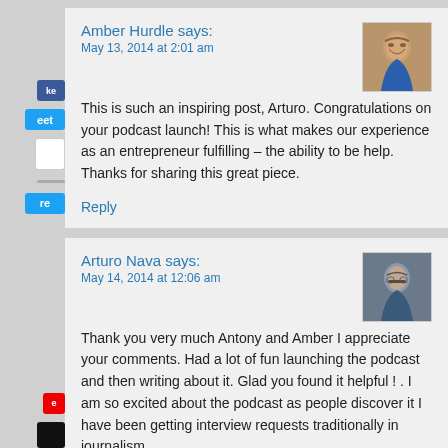Amber Hurdle says:
May 13, 2014 at 2:01 am
This is such an inspiring post, Arturo. Congratulations on your podcast launch! This is what makes our experience as an entrepreneur fulfilling – the ability to be help. Thanks for sharing this great piece.
Reply
[Figure (photo): Avatar photo of Amber Hurdle, a woman in a blue outfit]
Arturo Nava says:
May 14, 2014 at 12:06 am
Thank you very much Antony and Amber I appreciate your comments. Had a lot of fun launching the podcast and then writing about it. Glad you found it helpful ! . I am so excited about the podcast as people discover it I have been getting interview requests traditionally in journalism...
[Figure (photo): Avatar photo of Arturo Nava, a man with glasses and dark hair]